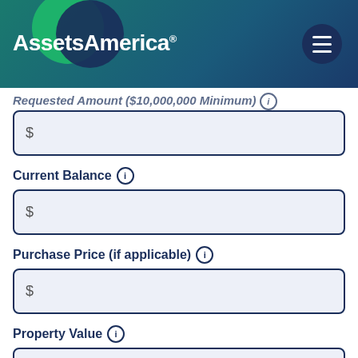[Figure (logo): AssetsAmerica logo with teal/dark blue gradient header background and hamburger menu button on the right]
Requested Amount ($10,000,000 Minimum) ℹ
$
Current Balance ℹ
$
Purchase Price (if applicable) ℹ
$
Property Value ℹ